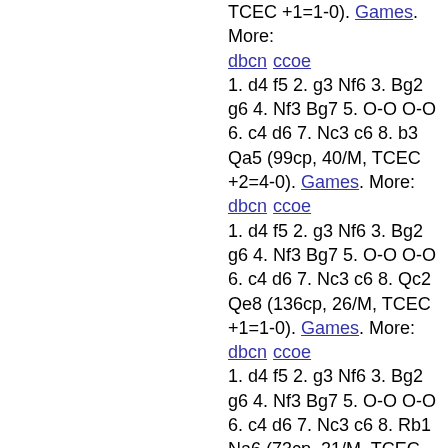TCEC +1=1-0). Games. More: dbcn ccoe 1. d4 f5 2. g3 Nf6 3. Bg2 g6 4. Nf3 Bg7 5. O-O O-O 6. c4 d6 7. Nc3 c6 8. b3 Qa5 (99cp, 40/M, TCEC +2=4-0). Games. More: dbcn ccoe 1. d4 f5 2. g3 Nf6 3. Bg2 g6 4. Nf3 Bg7 5. O-O O-O 6. c4 d6 7. Nc3 c6 8. Qc2 Qe8 (136cp, 26/M, TCEC +1=1-0). Games. More: dbcn ccoe 1. d4 f5 2. g3 Nf6 3. Bg2 g6 4. Nf3 Bg7 5. O-O O-O 6. c4 d6 7. Nc3 c6 8. Rb1 Na6 (73cp, 21/M, TCEC +2=0-0). Games. More: dbcn ccoe 1. d4 f5 2. g3 Nf6 3. Bg2 g6 4. Nf3 Bg7 5. O-O O-O 6. c4 d6 7. Nc3 c6 8. Rb1 (-35cp, 134/M, TCEC +0=2-0). Games. More: dbcn ccoe 1. d4 f5 2. g3 Nf6 3. Bg2 g6 4. Nf3 Bg7 5. O-O O-O 6. c4 d6 7. Nc3 c6 8. Re1 Na6 (39cp, 32/M, TCEC +1=3-0). Games. More: dbcn ccoe 1. d4 f5 2. g3 Nf6 3. Bg2 g6 4. Nf3 Bg7 5. O-O O-O 6. c4 d6 7. Nc3 c6 8. Re1 Qc7 (145cp, 11/M,